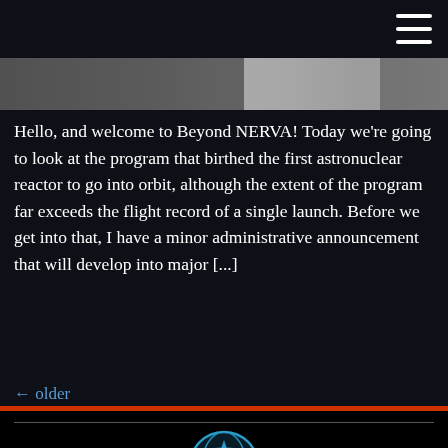[Figure (photo): Grayscale photograph strip showing mechanical/nuclear hardware components]
Hello, and welcome to Beyond NERVA! Today we're going to look at the program that birthed the first astronuclear reactor to go into orbit, although the extent of the program far exceeds the flight record of a single launch. Before we get into that, I have a minor administrative announcement that will develop into major [...]
← older
[Figure (logo): Beyond NERVA circular logo: blue globe with rocket/missile emblem]